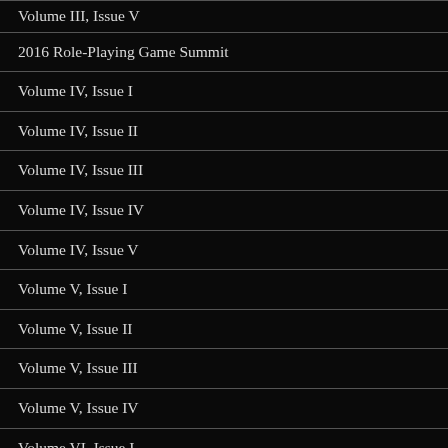Volume III, Issue V
2016 Role-Playing Game Summit
Volume IV, Issue I
Volume IV, Issue II
Volume IV, Issue III
Volume IV, Issue IV
Volume IV, Issue V
Volume V, Issue I
Volume V, Issue II
Volume V, Issue III
Volume V, Issue IV
Volume VI, Issue I
Volume VI, Issue II